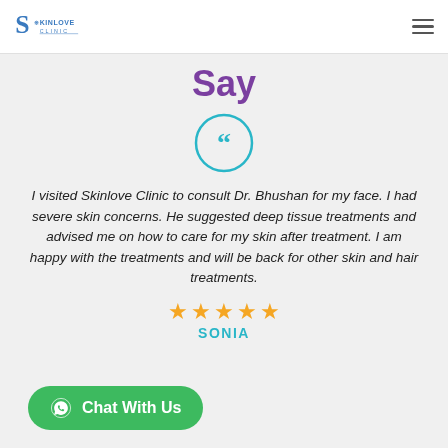Skinlove Clinic logo and navigation menu
Say
[Figure (illustration): Cyan open-quote circle icon]
I visited Skinlove Clinic to consult Dr. Bhushan for my face. I had severe skin concerns. He suggested deep tissue treatments and advised me on how to care for my skin after treatment. I am happy with the treatments and will be back for other skin and hair treatments.
[Figure (illustration): Five gold star rating]
SONIA
Chat With Us